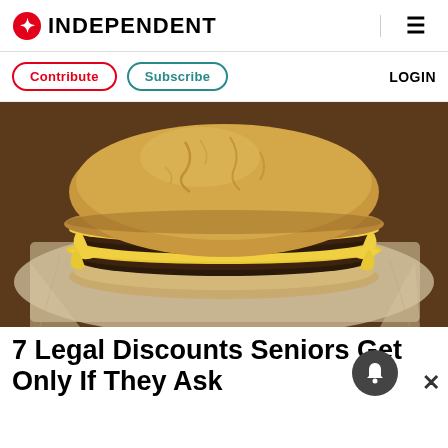INDEPENDENT
Contribute  Subscribe  LOGIN
[Figure (photo): Close-up photograph of a double cheeseburger on wax paper. The burger has two beef patties with melted yellow cheese between them, topped with a golden sesame-free bun with a cracked surface.]
7 Legal Discounts Seniors Get Only If They Ask